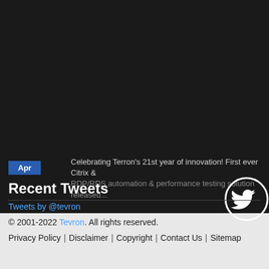Apr
Celebrating Terron's 21st year of innovation! First ever Citrix & RDP/RDS automation & performance testing solution released...
Recent Tweets
Tweets by @tevron
© 2001-2022 Tevron. All rights reserved. Privacy Policy | Disclaimer | Copyright | Contact Us | Sitemap